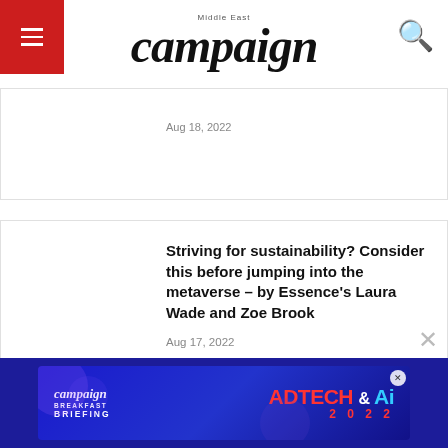campaign Middle East
Aug 18, 2022
Striving for sustainability? Consider this before jumping into the metaverse – by Essence's Laura Wade and Zoe Brook
Aug 17, 2022
[Figure (screenshot): Campaign Middle East AdTech & AI Breakfast Briefing 2022 advertisement banner at the bottom of the page]